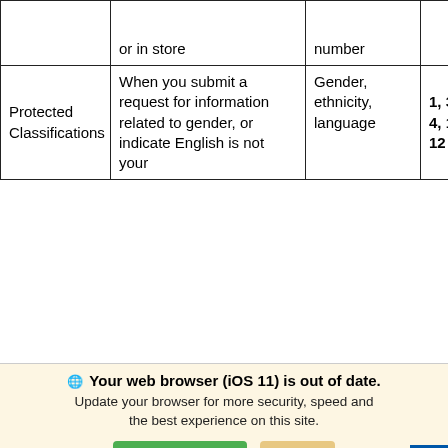|  | or in store | number |  |
| --- | --- | --- | --- |
| Protected Classifications | When you submit a request for information related to gender, or indicate English is not your | Gender, ethnicity, language | 1, 3, 4, 11, 12 |
We use cookies to optimize our website and our service. Cookie Policy - Privacy Statement
Your web browser (iOS 11) is out of date. Update your browser for more security, speed and the best experience on this site.